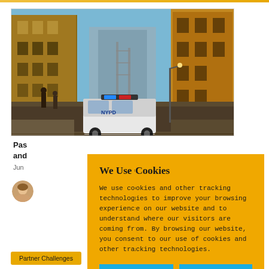[Figure (photo): Street-level photo of a New York City urban canyon with tall buildings on both sides, an NYPD police car visible in the middle ground, and a blue sky above.]
Pas... and...
Jun...
[Figure (photo): Author avatar — headshot of a woman]
We Use Cookies
We use cookies and other tracking technologies to improve your browsing experience on our website and to understand where our visitors are coming from. By browsing our website, you consent to our use of cookies and other tracking technologies.
ACCEPT
REJECT
Partner Challenges